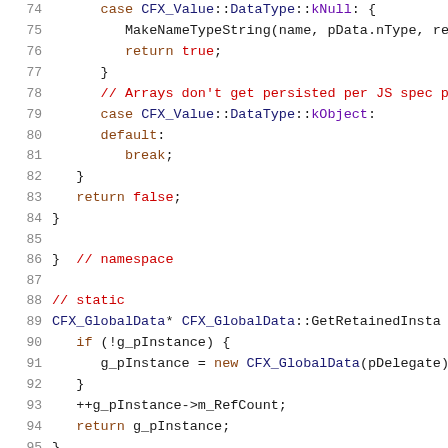[Figure (screenshot): Source code viewer showing C++ code lines 74–95 with syntax highlighting. Line numbers in grey on left, keywords in brown/dark red, comments in red, identifiers in dark blue/black, special keywords highlighted.]